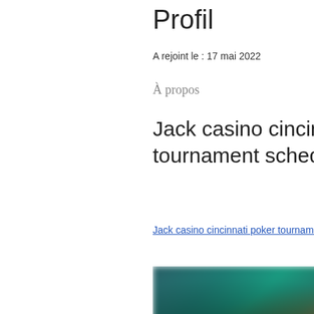Profil
A rejoint le : 17 mai 2022
À propos
Jack casino cincinnati poker tournament schedule
Jack casino cincinnati poker tournament schedule
[Figure (photo): Blurred photo of people at a casino poker table with teal/green lighting]